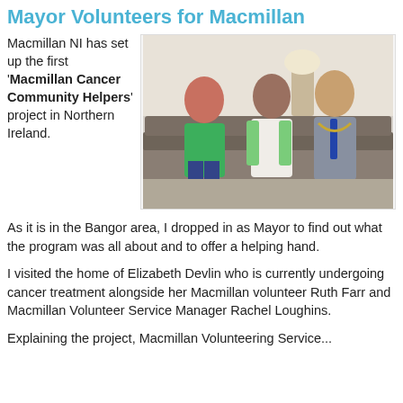Mayor Volunteers for Macmillan
Macmillan NI has set up the first 'Macmillan Cancer Community Helpers' project in Northern Ireland.
[Figure (photo): Three people sitting on a sofa: a woman in a green t-shirt on the left, a woman in a white dress with green cardigan in the middle, and a man in a grey suit wearing a mayoral chain on the right.]
As it is in the Bangor area, I dropped in as Mayor to find out what the program was all about and to offer a helping hand.
I visited the home of Elizabeth Devlin who is currently undergoing cancer treatment alongside her Macmillan volunteer Ruth Farr and Macmillan Volunteer Service Manager Rachel Loughins.
Explaining the project, Macmillan Volunteering Service...